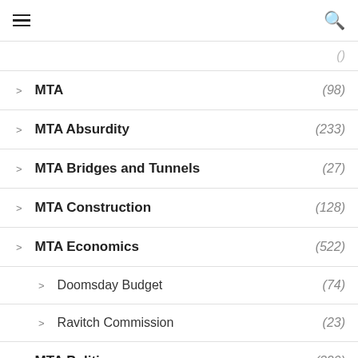≡  🔍
(truncated top item)
MTA (98)
MTA Absurdity (233)
MTA Bridges and Tunnels (27)
MTA Construction (128)
MTA Economics (522)
Doomsday Budget (74)
Ravitch Commission (23)
MTA Politics (329)
MTA Technology (195)